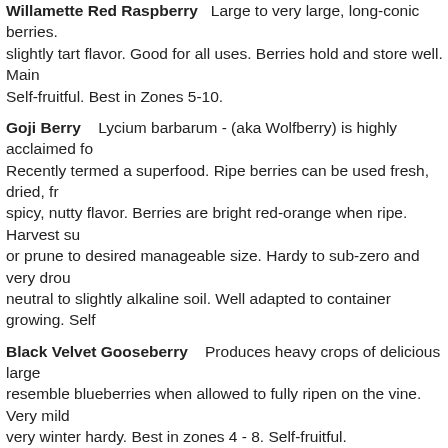Willamette Red Raspberry  Large to very large, long-conic berries. slightly tart flavor. Good for all uses. Berries hold and store well. Main Self-fruitful. Best in Zones 5-10.
Goji Berry  Lycium barbarum - (aka Wolfberry) is highly acclaimed fo Recently termed a superfood. Ripe berries can be used fresh, dried, fr spicy, nutty flavor. Berries are bright red-orange when ripe. Harvest su or prune to desired manageable size. Hardy to sub-zero and very drou neutral to slightly alkaline soil. Well adapted to container growing. Self
Black Velvet Gooseberry  Produces heavy crops of delicious large resemble blueberries when allowed to fully ripen on the vine. Very mild very winter hardy. Best in zones 4 - 8. Self-fruitful.
Blueberry Grape  Heirloom variety from Chico, CA similar to a seed blueberry overtones. Medium-sized clusters color up in August, but de hot autumn weather. Good shelf life when refrigerated. Use for jams, r
Concord (Eastern) Grape  Versatile, long-time favorite American gr flavor, used for table, juice, jelly and wine. 100 hours. Self-fruitful. Can
Merlot Grape  Black berry, used for distinctive red wines. Best qualit Cane or spur prune.
Cascade Hops  Cascade and Centennial are the basic hops varietie
Centennial Hops  Cascade and Centennial are the basic hops varie
Purple Pony Flowering Plum  Prunus cerasifera 'Purple Pony'  Sho Believed to be sterile. Height at full maturity 10-12 feet. Single pale pin